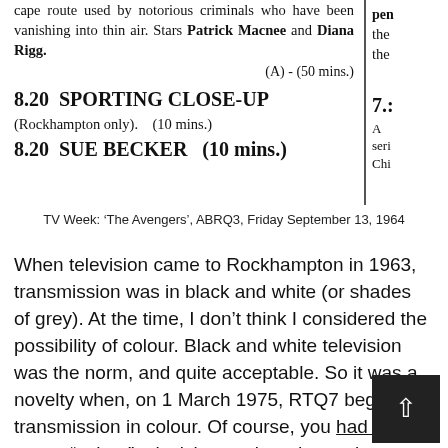cape route used by notorious criminals who have been vanishing into thin air. Stars Patrick Macnee and Diana Rigg. (A) - (50 mins.)
8.20 SPORTING CLOSE-UP (Rockhampton only). (10 mins.)
8.20 SUE BECKER (10 mins.)
TV Week: ‘The Avengers’, ABRQ3, Friday September 13, 1964
When television came to Rockhampton in 1963, transmission was in black and white (or shades of grey). At the time, I don’t think I considered the possibility of colour. Black and white television was the norm, and quite acceptable. So it was a novelty when, on 1 March 1975, RTQ7 began transmission in colour. Of course, you had to buy a new “colour” television set in order to view your favourite programs in colour. Rockhampton’s national